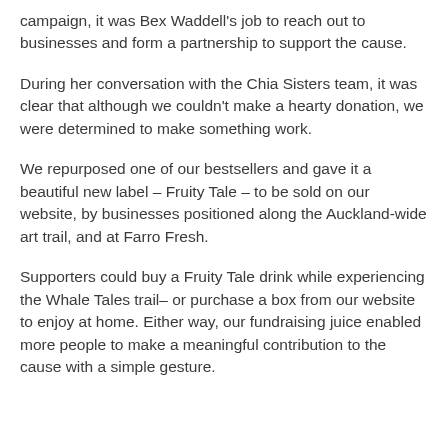campaign, it was Bex Waddell's job to reach out to businesses and form a partnership to support the cause.
During her conversation with the Chia Sisters team, it was clear that although we couldn't make a hearty donation, we were determined to make something work.
We repurposed one of our bestsellers and gave it a beautiful new label – Fruity Tale – to be sold on our website, by businesses positioned along the Auckland-wide art trail, and at Farro Fresh.
Supporters could buy a Fruity Tale drink while experiencing the Whale Tales trail– or purchase a box from our website to enjoy at home. Either way, our fundraising juice enabled more people to make a meaningful contribution to the cause with a simple gesture.